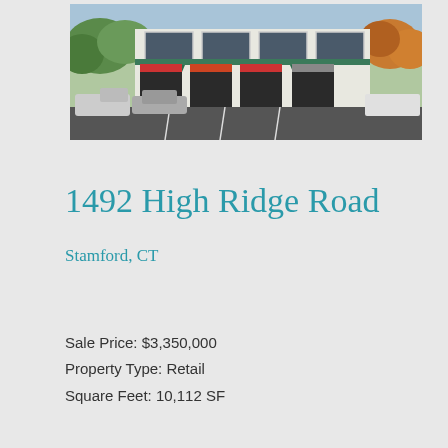[Figure (photo): Exterior photo of a two-story retail strip mall building at 1492 High Ridge Road, Stamford CT. White facade with green awnings, multiple storefronts, parking lot in foreground with several cars.]
1492 High Ridge Road
Stamford, CT
Sale Price: $3,350,000
Property Type: Retail
Square Feet: 10,112 SF